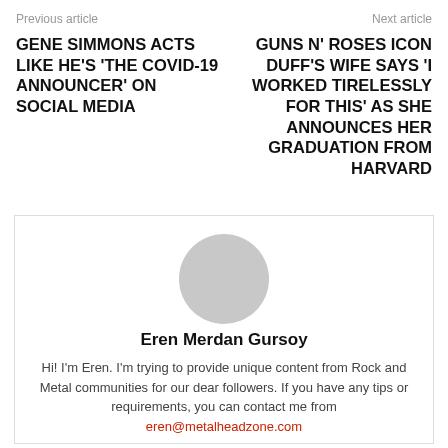Previous article    Next article
GENE SIMMONS ACTS LIKE HE'S 'THE COVID-19 ANNOUNCER' ON SOCIAL MEDIA
GUNS N' ROSES ICON DUFF'S WIFE SAYS 'I WORKED TIRELESSLY FOR THIS' AS SHE ANNOUNCES HER GRADUATION FROM HARVARD
Eren Merdan Gursoy
Hi! I'm Eren. I'm trying to provide unique content from Rock and Metal communities for our dear followers. If you have any tips or requirements, you can contact me from eren@metalheadzone.com